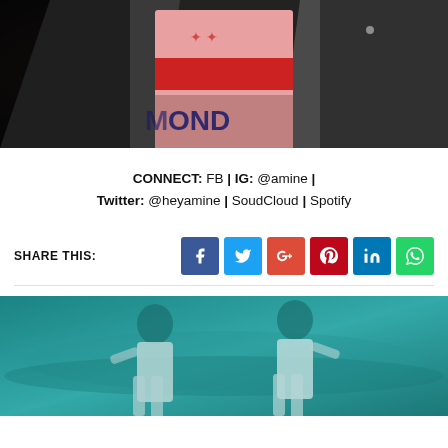[Figure (photo): Close-up photo of a person wearing a pink t-shirt with 'MOND' text visible, layered under a dark jacket, dark background]
CONNECT: FB | IG: @amine | Twitter: @heyamine | SoudCloud | Spotify
SHARE THIS:
[Figure (photo): Photo of two people in white t-shirts near water with a teal/cyan color overlay]